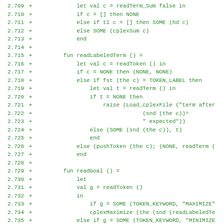[Figure (screenshot): Code diff screenshot showing ML/SML code additions (lines 2.709–2.740) in green monospace font on white background. Lines show functions readLabeledTerm, readGoal, and str2cmp with SML-style functional programming syntax.]